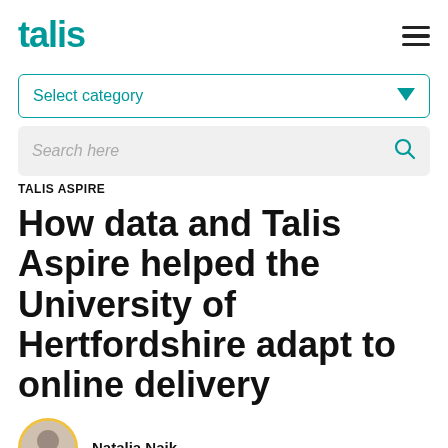talis
[Figure (other): Dropdown selector UI element with label 'Select category' and teal chevron arrow]
[Figure (other): Search input field with placeholder 'Search here' and teal search icon]
TALIS ASPIRE
How data and Talis Aspire helped the University of Hertfordshire adapt to online delivery
Natalia Naik